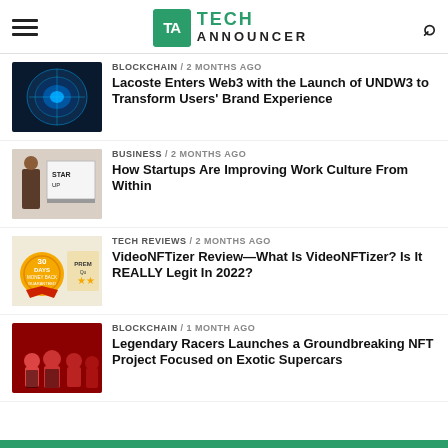Tech Announcer
BLOCKCHAIN / 2 months ago — Lacoste Enters Web3 with the Launch of UNDW3 to Transform Users' Brand Experience
BUSINESS / 2 months ago — How Startups Are Improving Work Culture From Within
TECH REVIEWS / 2 months ago — VideoNFTizer Review—What Is VideoNFTizer? Is It REALLY Legit In 2022?
BLOCKCHAIN / 1 month ago — Legendary Racers Launches a Groundbreaking NFT Project Focused on Exotic Supercars